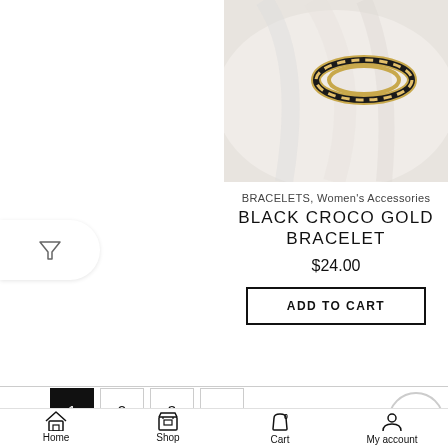[Figure (photo): Close-up photo of a black and gold croco bracelet on a white fabric surface]
BRACELETS, Women's Accessories
BLACK CROCO GOLD BRACELET
$24.00
ADD TO CART
1 2 3 >
Home  Shop  Cart  My account